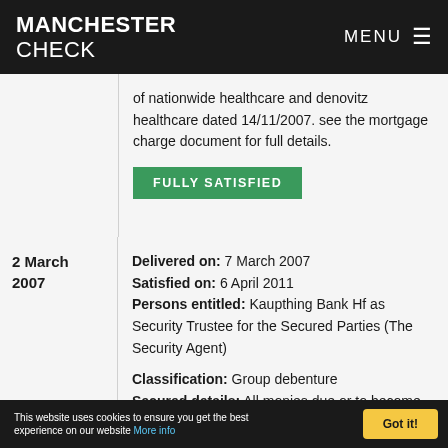MANCHESTER CHECK | MENU
| Date | Details |
| --- | --- |
|  | of nationwide healthcare and denovitz healthcare dated 14/11/2007. see the mortgage charge document for full details. FULLY SATISFIED |
| 2 March 2007 | Delivered on: 7 March 2007
Satisfied on: 6 April 2011
Persons entitled: Kaupthing Bank Hf as Security Trustee for the Secured Parties (The Security Agent)

Classification: Group debenture
Secured details: All monies due or to become due from each present or future member of the group to the security agent and/or the secured parties or any of |
This website uses cookies to ensure you get the best experience on our website More info
Got it!